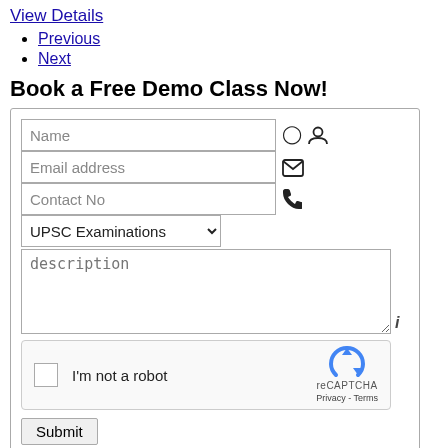View Details
Previous
Next
Book a Free Demo Class Now!
[Figure (screenshot): A web form with fields: Name, Email address, Contact No, a dropdown for UPSC Examinations, a description textarea, a reCAPTCHA widget, and a Submit button.]
Bank coaching center in Chennai